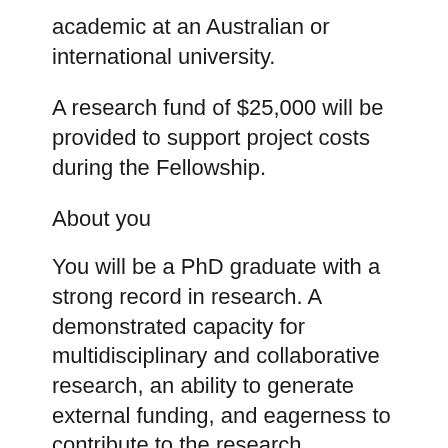academic at an Australian or international university.
A research fund of $25,000 will be provided to support project costs during the Fellowship.
About you
You will be a PhD graduate with a strong record in research. A demonstrated capacity for multidisciplinary and collaborative research, an ability to generate external funding, and eagerness to contribute to the research outcomes of the Faculty are required.
Location